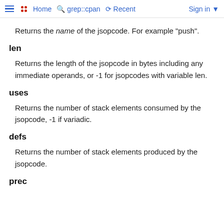Home  grep::cpan  Recent  Sign in
Returns the name of the jsopcode. For example "push".
len
Returns the length of the jsopcode in bytes including any immediate operands, or -1 for jsopcodes with variable len.
uses
Returns the number of stack elements consumed by the jsopcode, -1 if variadic.
defs
Returns the number of stack elements produced by the jsopcode.
prec